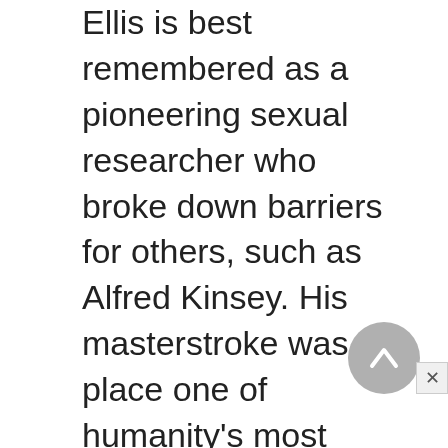Ellis is best remembered as a pioneering sexual researcher who broke down barriers for others, such as Alfred Kinsey. His masterstroke was to place one of humanity's most elemental biological functions in the realm of the psychological. Despite the ensuing censorship, this turned a modern eye on the topic. It followed from this experience and from experiences of his life that he would champion women's rights and sex education, but in reality all of Ellis's